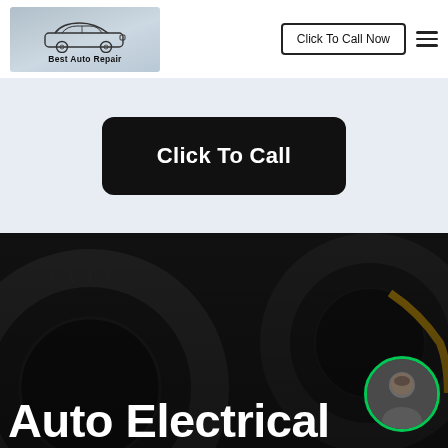[Figure (logo): Best Auto Repair logo with car illustration on a light blue-grey background]
Click To Call Now
☰
Click To Call
[Figure (photo): Dark background photo of car tires/wheels in a garage or workshop setting, with a person avatar in bottom-right corner. Text overlay: Auto Electrical]
Auto Electrical